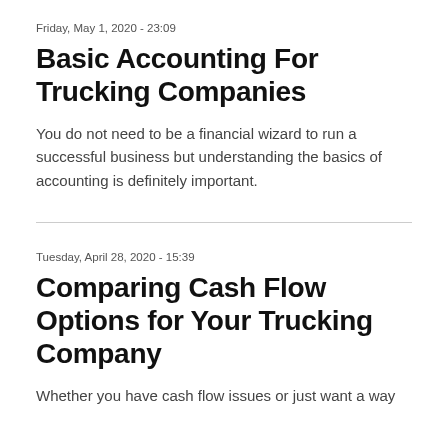Friday, May 1, 2020 - 23:09
Basic Accounting For Trucking Companies
You do not need to be a financial wizard to run a successful business but understanding the basics of accounting is definitely important.
Tuesday, April 28, 2020 - 15:39
Comparing Cash Flow Options for Your Trucking Company
Whether you have cash flow issues or just want a way